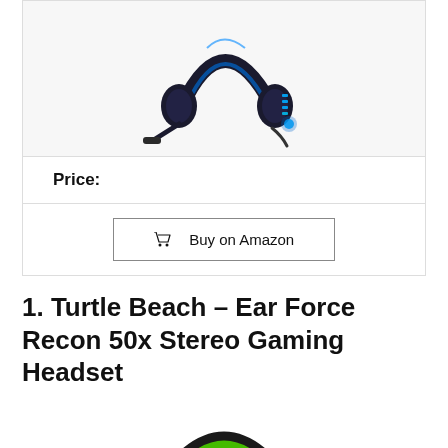[Figure (photo): Blue and black gaming headset with LED blue lighting accents, shown at an angle]
Price:
Buy on Amazon
1. Turtle Beach – Ear Force Recon 50x Stereo Gaming Headset
[Figure (photo): Black and green gaming headset (Turtle Beach Recon 50x), top-down view showing headband with green interior padding]